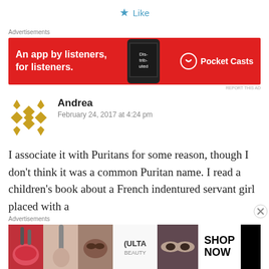★ Like
[Figure (screenshot): Red advertisement banner for Pocket Casts app: 'An app by listeners, for listeners.' with phone image and Pocket Casts logo]
REPORT THIS AD
Andrea
February 24, 2017 at 4:24 pm
I associate it with Puritans for some reason, though I don't think it was a common Puritan name. I read a children's book about a French indentured servant girl placed with a
[Figure (screenshot): ULTA beauty advertisement banner with makeup images and SHOP NOW button]
Advertisements
Advertisements